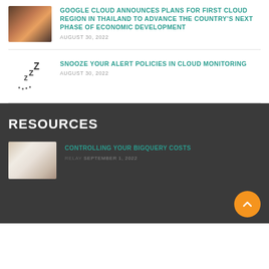[Figure (photo): Thumbnail photo of a landscape with mountains and orange sky]
GOOGLE CLOUD ANNOUNCES PLANS FOR FIRST CLOUD REGION IN THAILAND TO ADVANCE THE COUNTRY'S NEXT PHASE OF ECONOMIC DEVELOPMENT
AUGUST 30, 2022
[Figure (illustration): ZZZ sleeping illustration with z letters and dots]
SNOOZE YOUR ALERT POLICIES IN CLOUD MONITORING
AUGUST 30, 2022
RESOURCES
[Figure (photo): Thumbnail photo of a person writing in a notebook]
CONTROLLING YOUR BIGQUERY COSTS
RELAY SEPTEMBER 1, 2022